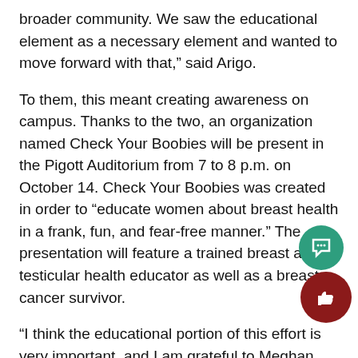broader community. We saw the educational element as a necessary element and wanted to move forward with that," said Arigo.
To them, this meant creating awareness on campus. Thanks to the two, an organization named Check Your Boobies will be present in the Pigott Auditorium from 7 to 8 p.m. on October 14. Check Your Boobies was created in order to “educate women about breast health in a frank, fun, and fear-free manner.” The presentation will feature a trained breast and testicular health educator as well as a breast cancer survivor.
“I think the educational portion of this effort is very important, and I am grateful to Meghan and Elena for taking the lead and arranging the guest speakers to come onto campus, because that would not have happened without their work,” said Steidl.
Check Your Boobies will also be giving out informational pamp...